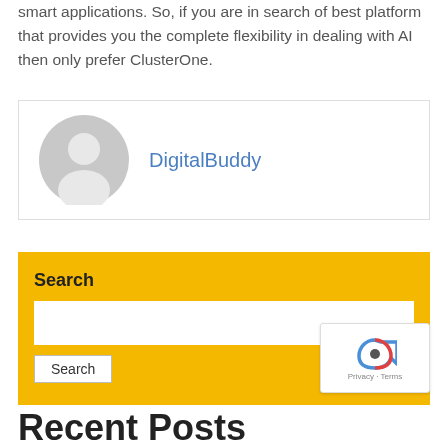smart applications. So, if you are in search of best platform that provides you the complete flexibility in dealing with AI then only prefer ClusterOne.
DigitalBuddy
Search
Recent Posts